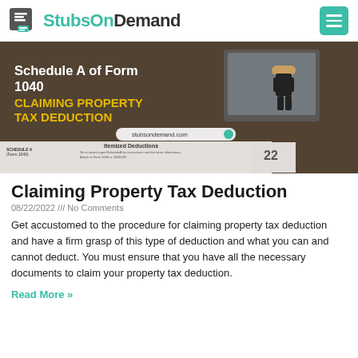StubsOnDemand
[Figure (illustration): Hero banner image for blog post about claiming property tax deduction. Dark background with text 'Schedule A of Form 1040' in white and 'CLAIMING PROPERTY TAX DEDUCTION' in yellow, showing stubsondemand.com URL and a partial Schedule A form, with a LEGO figure dressed in business attire at a desk with a computer.]
Claiming Property Tax Deduction
08/22/2022 /// No Comments
Get accustomed to the procedure for claiming property tax deduction and have a firm grasp of this type of deduction and what you can and cannot deduct. You must ensure that you have all the necessary documents to claim your property tax deduction.
Read More »